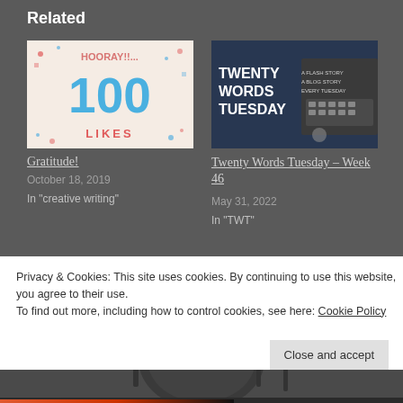Related
[Figure (illustration): Image showing '100 LIKES' text on a light pink/cream background with decorative dots]
Gratitude!
October 18, 2019
In "creative writing"
[Figure (photo): Dark moody photo of a typewriter with text overlay: TWENTY WORDS TUESDAY]
Twenty Words Tuesday – Week 46
May 31, 2022
In "TWT"
[Figure (photo): Dark background with silhouette of dinner plate and cutlery (fork, knife, spoon)]
Privacy & Cookies: This site uses cookies. By continuing to use this website, you agree to their use.
To find out more, including how to control cookies, see here: Cookie Policy
Close and accept